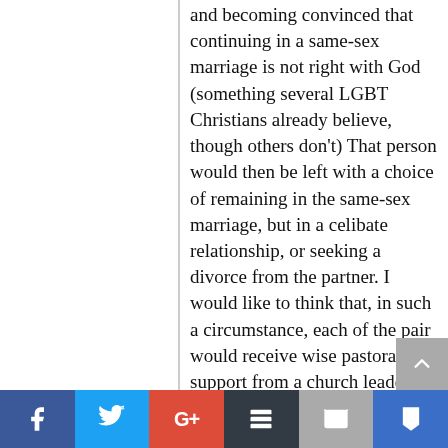and becoming convinced that continuing in a same-sex marriage is not right with God (something several LGBT Christians already believe, though others don't) That person would then be left with a choice of remaining in the same-sex marriage, but in a celibate relationship, or seeking a divorce from the partner. I would like to think that, in such a circumstance, each of the pair would receive wise pastoral support from a church leader.
I do believe in a male-female binary, but I think that the difficulties surrounding same-sex marriage are far from being black and white, and I must really...